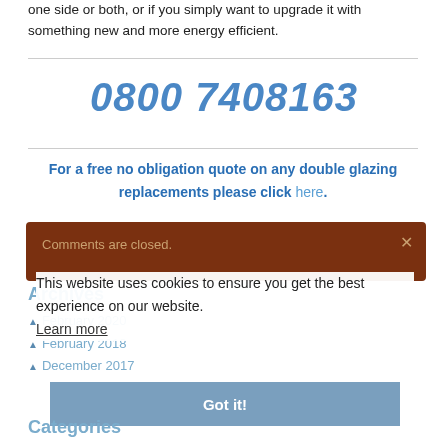one side or both, or if you simply want to upgrade it with something new and more energy efficient.
0800 7408163
For a free no obligation quote on any double glazing replacements please click here.
Comments are closed.
This website uses cookies to ensure you get the best experience on our website.
Learn more
Archives
February 2020
February 2018
December 2017
Got it!
Categories